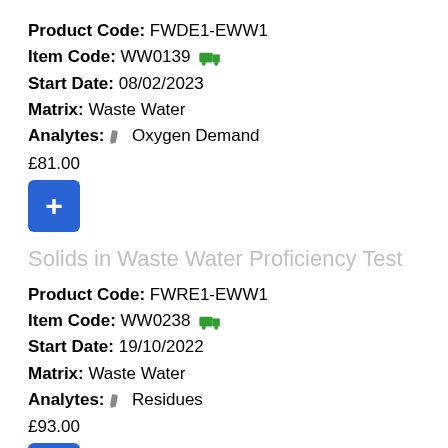Product Code: FWDE1-EWW1
Item Code: WW0139 [truck icon]
Start Date: 08/02/2023
Matrix: Waste Water
Analytes: [pencil] Oxygen Demand
£81.00
Solids in Waste Water Proficiency Test
Product Code: FWRE1-EWW1
Item Code: WW0238 [truck icon]
Start Date: 19/10/2022
Matrix: Waste Water
Analytes: [pencil] Residues
£93.00
Product Code: FWRE1-EWW1